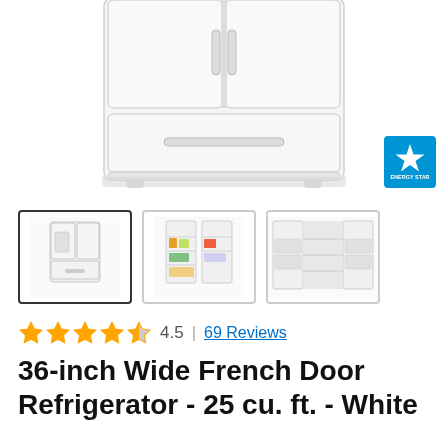[Figure (photo): Main product photo of a white Whirlpool 36-inch French Door Refrigerator, viewed from front-top angle showing the top doors and freezer drawer, on white background]
[Figure (photo): Energy Star certification badge in blue and white]
[Figure (photo): Thumbnail 1: White French door refrigerator closed, front view (selected/highlighted)]
[Figure (photo): Thumbnail 2: White French door refrigerator open showing full interior with food]
[Figure (photo): Thumbnail 3: White French door refrigerator open showing door bins and interior view]
4.5  |  69 Reviews
36-inch Wide French Door Refrigerator - 25 cu. ft. - White